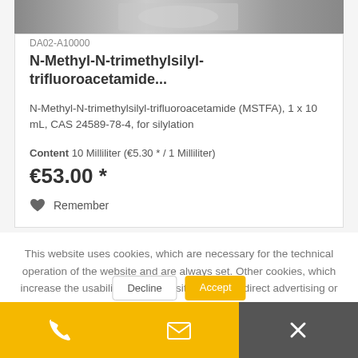[Figure (photo): Product image - appears to be a chemical reagent bottle or similar lab chemical product]
DA02-A10000
N-Methyl-N-trimethylsilyl-trifluoroacetamide...
N-Methyl-N-trimethylsilyl-trifluoroacetamide (MSTFA), 1 x 10 mL, CAS 24589-78-4, for silylation
Content 10 Milliliter (€5.30 * / 1 Milliliter)
€53.00 *
Remember
This website uses cookies, which are necessary for the technical operation of the website and are always set. Other cookies, which increase the usability of this website, serve for direct advertising or simplify interaction with other websites and social networks, will only be used with your consent.